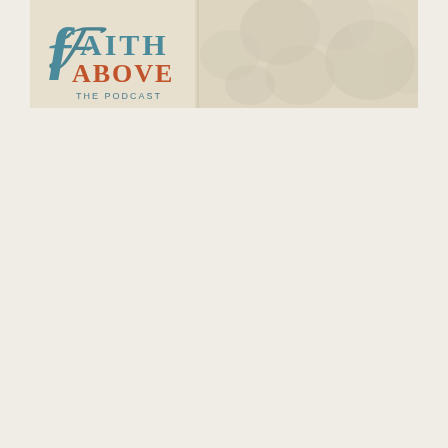[Figure (logo): Faith Above The Podcast logo banner. Left portion shows stylized script and serif text reading 'Faith ABOVE THE PODCAST' in teal/blue and terracotta/rust colors. Right portion shows a soft-focus floral or textured background in cream and beige tones.]